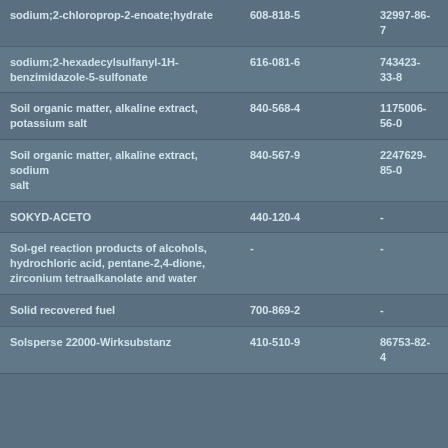| sodium;2-chloroprop-2-enoate;hydrate | 608-818-5 | 32997-86-7 |
| sodium;2-hexadecylsulfanyl-1H-benzimidazole-5-sulfonate | 616-081-6 | 743423-33-8 |
| Soil organic matter, alkaline extract, potassium salt | 840-568-4 | 1175006-56-0 |
| Soil organic matter, alkaline extract, sodium salt | 840-567-9 | 2247629-85-0 |
| SOKYD-ACETO | 440-120-4 | - |
| Sol-gel reaction products of alcohols, hydrochloric acid, pentane-2,4-dione, zirconium tetraalkanolate and water | - | - |
| Solid recovered fuel | 700-869-2 | - |
| Solsperse 22000-Wirksubstanz | 410-510-9 | 86753-82-4 |